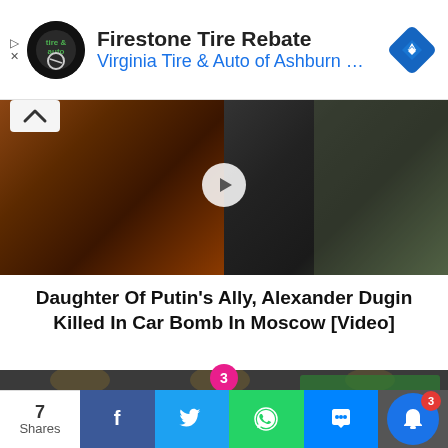[Figure (screenshot): Advertisement banner: Firestone Tire Rebate — Virginia Tire & Auto of Ashburn logo and text with blue navigation diamond icon]
[Figure (photo): Partially visible article header image showing two scenes side by side: left side reddish-brown interior, right side people in dark clothing]
Daughter Of Putin's Ally, Alexander Dugin Killed In Car Bomb In Moscow [Video]
[Figure (photo): Three young Asian people smiling and toasting with drinks at a bar or restaurant]
7 Shares